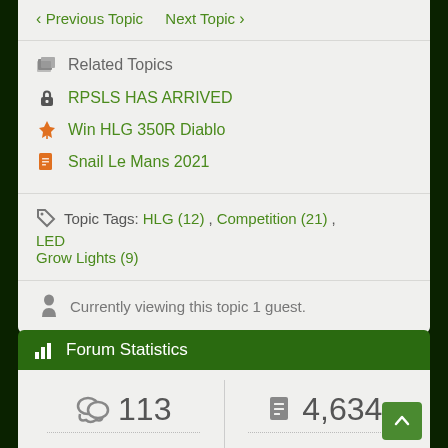Previous Topic   Next Topic
Related Topics
RPSLS HAS ARRIVED
Win HLG 350R Diablo
Snail Le Mans 2021
Topic Tags: HLG (12), Competition (21), LED Grow Lights (9)
Currently viewing this topic 1 guest.
Forum Statistics
113   4,634